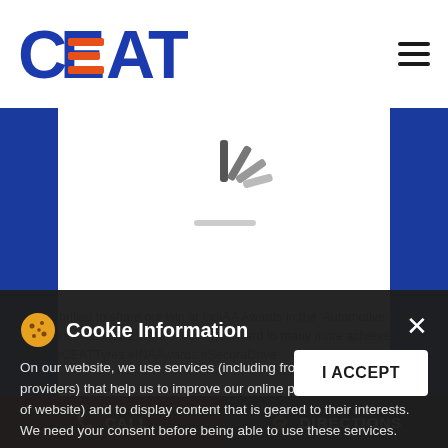[Figure (logo): CEAT logo with blue text and orange horizontal bars through letters]
[Figure (illustration): Loading spinner icon (gray lines radiating from center) inside a white content box on blue background]
Cookie Information
On our website, we use services (including from third-party providers) that help us to improve our online presence (optimization of website) and to display content that is geared to their interests. We need your consent before being able to use these services.
We are thrilled to share our win at IndiAA Awards in the 'Automotive and Accessories' category. Here's looking forward to many more achievements. #CEAT #CEATTyres #INAAwards #SecuraDrive #CEAT
I ACCEPT
CALL
DIRECTIONS